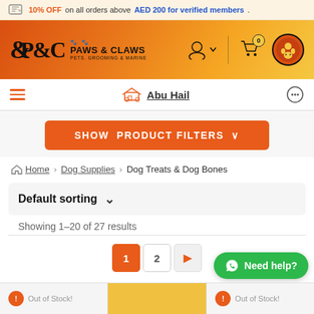10% OFF on all orders above AED 200 for verified members.
[Figure (screenshot): Paws & Claws website header with logo, user icon, cart icon with 0 badge, and brand icon]
Abu Hail
[Figure (infographic): SHOW PRODUCT FILTERS button with dropdown arrow]
Home > Dog Supplies > Dog Treats & Dog Bones
Default sorting
Showing 1–20 of 27 results
[Figure (infographic): Pagination: page 1 (active, orange), page 2, next arrow]
[Figure (infographic): Need help? WhatsApp button in green]
Out of Stock!